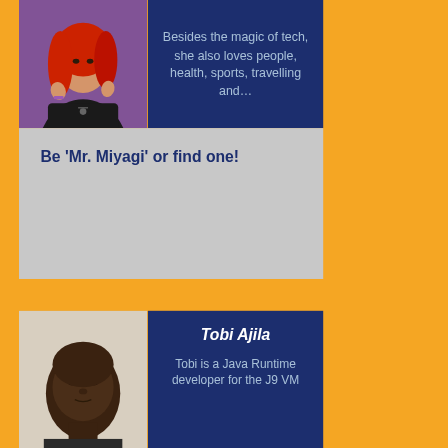[Figure (photo): Woman with red hair speaking at a conference, wearing black and gesturing with hands against a purple background]
Besides the magic of tech, she also loves people, health, sports, travelling and…
Be 'Mr. Miyagi' or find one!
[Figure (photo): Portrait photo of Tobi Ajila, a Black man looking directly at the camera]
Tobi Ajila
Tobi is a Java Runtime developer for the J9 VM